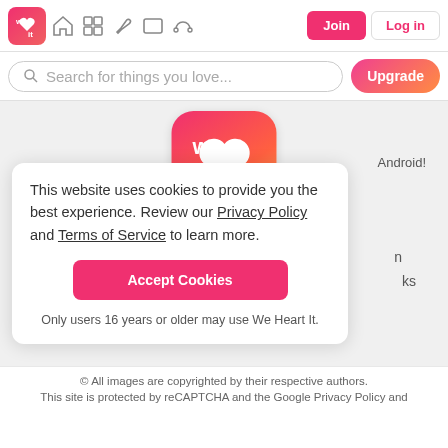[Figure (logo): We Heart It small logo in navbar - pink/red rounded square with 'we ♥ it' text in white]
[Figure (logo): Navigation icons: home, grid, feather/write, rectangle, headphones]
Join
Log in
Search for things you love...
Upgrade
[Figure (logo): Large We Heart It logo - pink to orange gradient rounded square with 'we ♥ it' in white text]
Android!
This website uses cookies to provide you the best experience. Review our Privacy Policy and Terms of Service to learn more.
Accept Cookies
Only users 16 years or older may use We Heart It.
n
ks
© All images are copyrighted by their respective authors.
This site is protected by reCAPTCHA and the Google Privacy Policy and